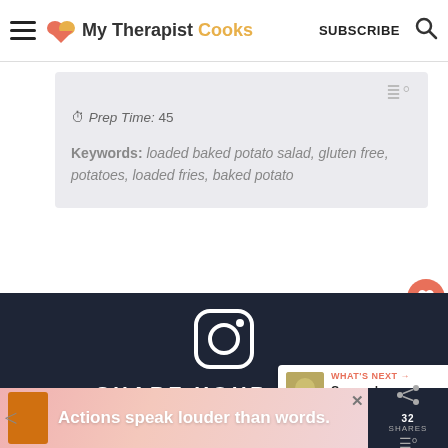My Therapist Cooks | SUBSCRIBE
Prep Time: 45
Keywords: loaded baked potato salad, gluten free, potatoes, loaded fries, baked potato
[Figure (logo): Instagram logo icon in white on dark navy background]
SHARE YOUR FOOD
Tag @mytherapistcooks on Instagram and
WHAT'S NEXT → Creamed Spinach Ma...
Actions speak louder than words.